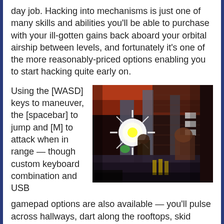day job. Hacking into mechanisms is just one of many skills and abilities you'll be able to purchase with your ill-gotten gains back aboard your orbital airship between levels, and fortunately it's one of the more reasonably-priced options enabling you to start hacking quite early on.
Using the [WASD] keys to maneuver, the [spacebar] to jump and [M] to attack when in range — though custom keyboard combination and USB gamepad options are also available — you'll pulse across hallways, dart along the rooftops, skid down
[Figure (screenshot): A screenshot of a 2D action platformer video game showing characters fighting in a dark, industrial environment with bright light/explosion effects in the center.]